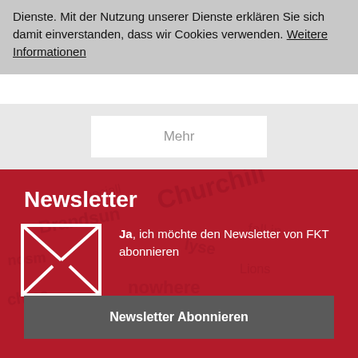Dienste. Mit der Nutzung unserer Dienste erklären Sie sich damit einverstanden, dass wir Cookies verwenden. Weitere Informationen
Mehr
Newsletter
[Figure (illustration): Envelope icon (outline) with X cross lines, white on red background]
Ja, ich möchte den Newsletter von FKT abonnieren
Newsletter Abonnieren